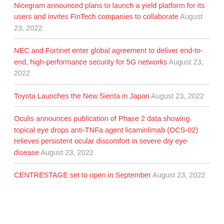Nicegram announced plans to launch a yield platform for its users and invites FinTech companies to collaborate August 23, 2022
NEC and Fortinet enter global agreement to deliver end-to-end, high-performance security for 5G networks August 23, 2022
Toyota Launches the New Sienta in Japan August 23, 2022
Oculis announces publication of Phase 2 data showing topical eye drops anti-TNFa agent licaminlimab (OCS-02) relieves persistent ocular discomfort in severe dry eye disease August 23, 2022
CENTRESTAGE set to open in September August 23, 2022